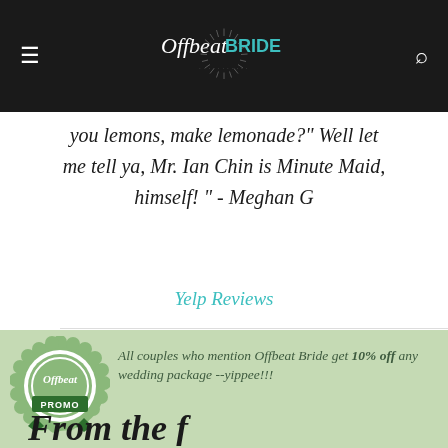Offbeat Bride
you lemons, make lemonade?" Well let me tell ya, Mr. Ian Chin is Minute Maid, himself! " - Meghan G
Yelp Reviews
[Figure (logo): Offbeat Bride Promo badge - circular green seal with 'Offbeat PROMO' text and ribbon banner]
All couples who mention Offbeat Bride get 10% off any wedding package --yippee!!!
From the f...